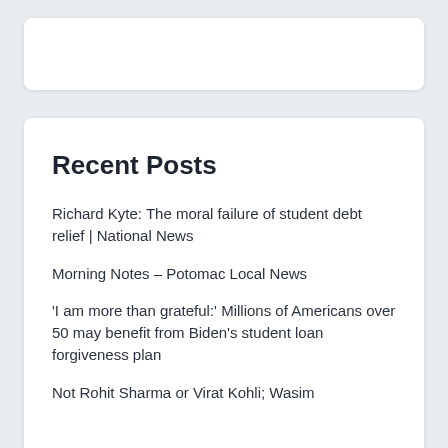Recent Posts
Richard Kyte: The moral failure of student debt relief | National News
Morning Notes – Potomac Local News
'I am more than grateful:' Millions of Americans over 50 may benefit from Biden's student loan forgiveness plan
Not Rohit Sharma or Virat Kohli; Wasim Akram Picks Men's Best...